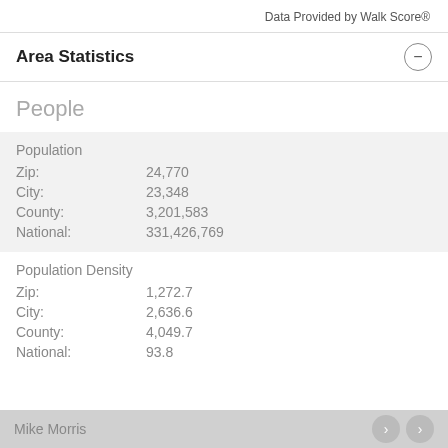Data Provided by Walk Score®
Area Statistics
People
|  |  |
| --- | --- |
| Population |  |
| Zip: | 24,770 |
| City: | 23,348 |
| County: | 3,201,583 |
| National: | 331,426,769 |
| Population Density |  |
| Zip: | 1,272.7 |
| City: | 2,636.6 |
| County: | 4,049.7 |
| National: | 93.8 |
Mike Morris